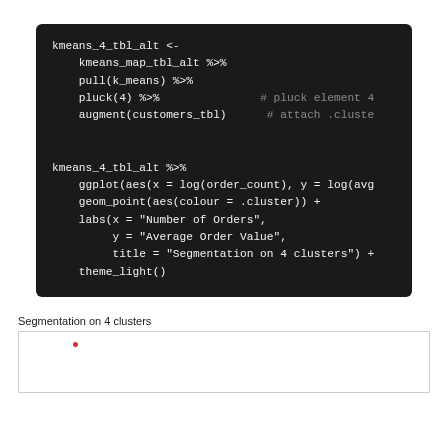[Figure (screenshot): Dark-background code block showing R code: kmeans_4_tbl_alt assignment with kmeans_map_tbl_alt pipe chain, followed by ggplot visualization code with labs and theme_light]
Segmentation on 4 clusters
[Figure (screenshot): Partial scatter plot chart titled 'Segmentation on 4 clusters' showing beginning of a ggplot visualization with a single red point visible in upper left area of the chart panel]